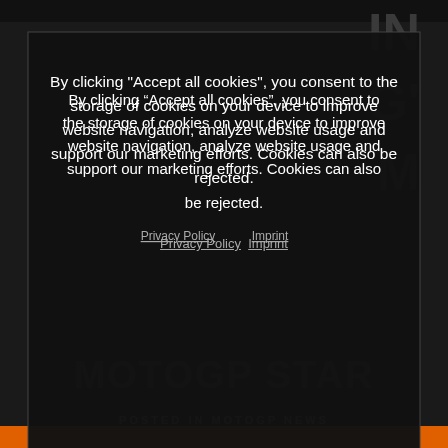[Figure (screenshot): Dark background webpage with cookie consent dialog overlay. Background shows partial motorcycle/KTM branded content with orange accents. Foreground is a cookie consent modal with dark background.]
By clicking “Accept all cookies”, you consent to the storage of cookies on your device to improve website navigation, analyze website usage and support our marketing efforts. Cookies can also be rejected.
Privacy Policy  Imprint
REJECT ALL
ACCEPT ALL COOKIES